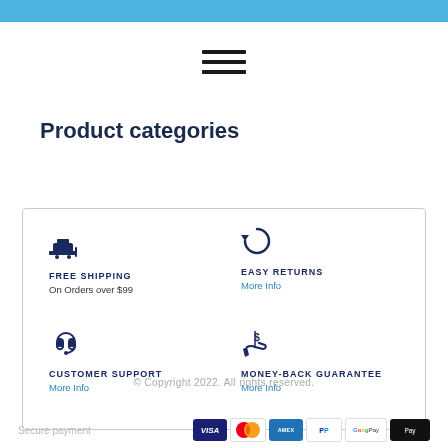[Figure (logo): Website logo in top-left corner on blue bar]
[Figure (illustration): Hamburger menu icon (three horizontal lines)]
Product categories
[Figure (infographic): Feature box with four sections: FREE SHIPPING (On Orders over $99), EASY RETURNS (More Info), CUSTOMER SUPPORT (More Info), MONEY-BACK GUARANTEE (More Info)]
© Copyright 2022. All rights reserved.
Secure payment
[Figure (illustration): Payment icons: VISA, Mastercard, AMEX, PayPal, Google Pay, Apple Pay]